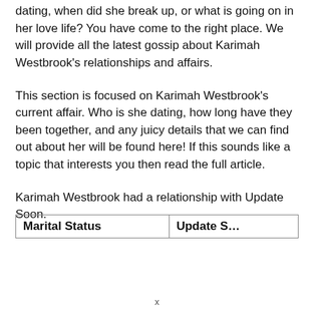dating, when did she break up, or what is going on in her love life? You have come to the right place. We will provide all the latest gossip about Karimah Westbrook's relationships and affairs.
This section is focused on Karimah Westbrook's current affair. Who is she dating, how long have they been together, and any juicy details that we can find out about her will be found here! If this sounds like a topic that interests you then read the full article.
Karimah Westbrook had a relationship with Update Soon.
| Marital Status | Update Soon |
| --- | --- |
x